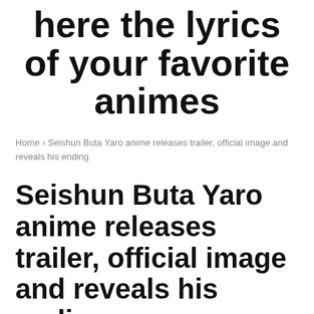here the lyrics of your favorite animes
Home › Seishun Buta Yaro anime releases trailer, official image and reveals his ending
Seishun Buta Yaro anime releases trailer, official image and reveals his ending